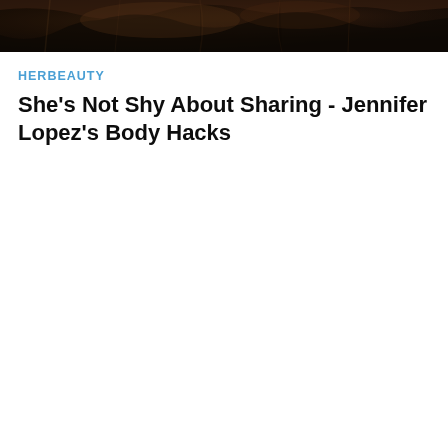[Figure (photo): Dark, moody photograph showing a partially visible figure or abstract dark scene with warm brown and black tones, cropped at top of page]
HERBEAUTY
She's Not Shy About Sharing - Jennifer Lopez's Body Hacks